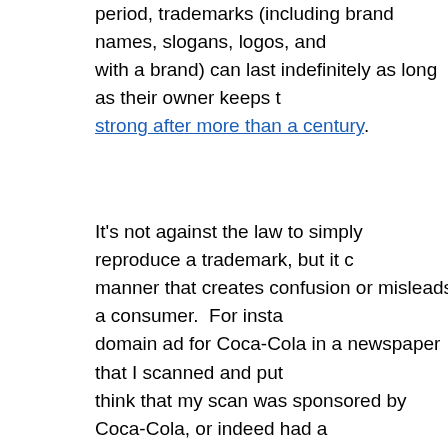period, trademarks (including brand names, slogans, logos, and with a brand) can last indefinitely as long as their owner keeps strong after more than a century.
It's not against the law to simply reproduce a trademark, but it c manner that creates confusion or misleads a consumer. For insta domain ad for Coca-Cola in a newspaper that I scanned and put think that my scan was sponsored by Coca-Cola, or indeed had a company. But if I placed that same ad prominently on a vendin Pepsi, thirsty customers might think they were buying a soda di got. That could lead to legal troubles that I wouldn't have from
Similar problems could result if I sold T-shirts or posters with a that customers thought was created or endorsed by that compan retain control over clothing featuring Disney characters even aft characters start expiring a few years from now. They can't use t reproductions or creative uses of copyright-expired characters, b trademarks for the use of many of those characters in branded c character-themed clothes, they'd have good arguments that s